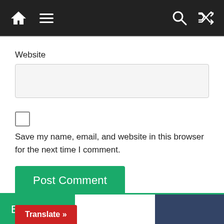Navigation bar with home, menu, search, and shuffle icons
Website
Save my name, email, and website in this browser for the next time I comment.
Post Comment
Best Deals
Translate »